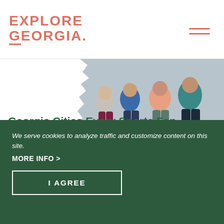[Figure (logo): Explore Georgia logo in coral/salmon color with hamburger menu icon on the right]
[Figure (photo): Group of people walking away from camera, partial torn paper overlay on left side]
Georgia Cities Every Sports Fan Will Love >
We serve cookies to analyze traffic and customize content on this site.
MORE INFO >
I AGREE